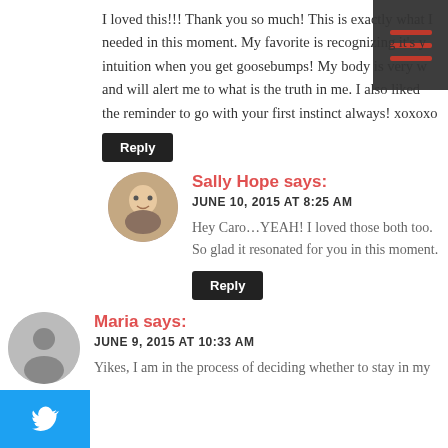I loved this!!! Thank you so much! This is exactly what I needed in this moment. My favorite is recognizing it's y intuition when you get goosebumps! My body is very w and will alert me to what is the truth in me. I also liked the reminder to go with your first instinct always! xoxoxo
Reply
Sally Hope says:
JUNE 10, 2015 AT 8:25 AM
Hey Caro…YEAH! I loved those both too. So glad it resonated for you in this moment.
Reply
Maria says:
JUNE 9, 2015 AT 10:33 AM
Yikes, I am in the process of deciding whether to stay in my